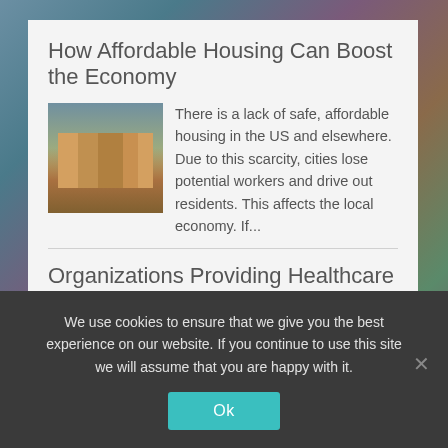How Affordable Housing Can Boost the Economy
[Figure (photo): Photo of colorful Victorian row houses]
There is a lack of safe, affordable housing in the US and elsewhere. Due to this scarcity, cities lose potential workers and drive out residents. This affects the local economy. If...
Organizations Providing Healthcare to the Communities
[Figure (photo): Photo of healthcare workers attending to a patient]
Being healthy is very important. No matter how busy you are, you must take some time to look after yourself. Some organizations are working to improve the healthcare of...
We use cookies to ensure that we give you the best experience on our website. If you continue to use this site we will assume that you are happy with it.